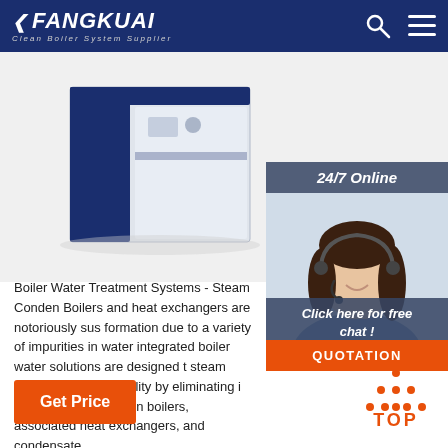FANGKUAI — Clean Boiler System Supplier
[Figure (photo): Industrial boiler unit — large dark navy and white metal cabinet/system]
[Figure (photo): 24/7 Online customer service agent — woman with headset smiling]
Boiler Water Treatment Systems - Steam Conden... Boilers and heat exchangers are notoriously sus... formation due to a variety of impurities in water... integrated boiler water solutions are designed t... steam purity and steam quality by eliminating i... and fouling deposits in boilers, associated heat exchangers, and condensate.
Get Price
Click here for free chat !
QUOTATION
TOP